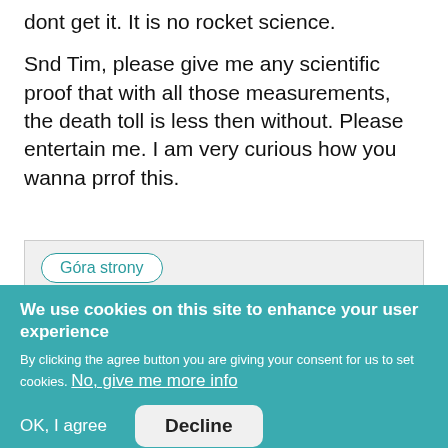dont get it. It is no rocket science.
Snd Tim, please give me any scientific proof that with all those measurements, the death toll is less then without. Please entertain me. I am very curious how you wanna prrof this.
Góra strony
We use cookies on this site to enhance your user experience
By clicking the agree button you are giving your consent for us to set cookies. No, give me more info
OK, I agree
Decline